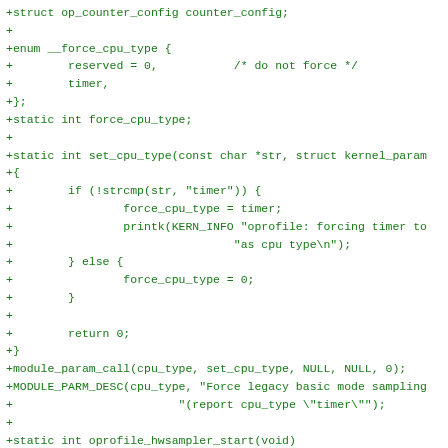+struct op_counter_config counter_config;
+
+enum __force_cpu_type {
+        reserved = 0,           /* do not force */
+        timer,
+};
+static int force_cpu_type;
+
+static int set_cpu_type(const char *str, struct kernel_param
+{
+        if (!strcmp(str, "timer")) {
+                force_cpu_type = timer;
+                printk(KERN_INFO "oprofile: forcing timer to
+                                "as cpu type\n");
+        } else {
+                force_cpu_type = 0;
+        }
+
+        return 0;
+}
+module_param_call(cpu_type, set_cpu_type, NULL, NULL, 0);
+MODULE_PARM_DESC(cpu_type, "Force legacy basic mode sampling
+                        "(report cpu_type \"timer\"");
+
+static int oprofile_hwsampler_start(void)
+{